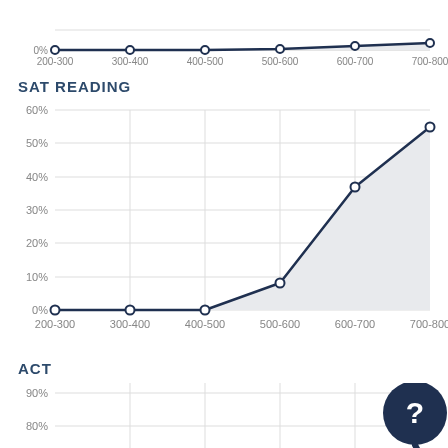[Figure (area-chart): SAT Math (partial top)]
SAT READING
[Figure (area-chart): SAT Reading]
ACT
[Figure (area-chart): ACT (partial)]